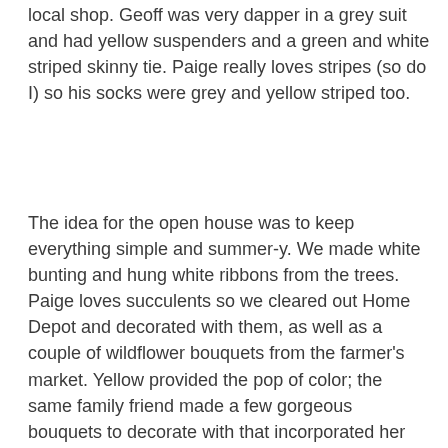local shop. Geoff was very dapper in a grey suit and had yellow suspenders and a green and white striped skinny tie. Paige really loves stripes (so do I) so his socks were grey and yellow striped too.
The idea for the open house was to keep everything simple and summer-y. We made white bunting and hung white ribbons from the trees. Paige loves succulents so we cleared out Home Depot and decorated with them, as well as a couple of wildflower bouquets from the farmer's market. Yellow provided the pop of color; the same family friend made a few gorgeous bouquets to decorate with that incorporated her colors of green, yellow, and white with traditional flowers, wildflowers and succulents. My Nicola (Max refused to participate) painted the letters, and we had plenty of engagements photos, candles, and all the plants and flowers on display. The painting Laura made for the happy couple was displayed as well (she is insanely talented). Their invitation was made by me and was so 'Paige' we framed it for her to hang in her new house (and displayed it too). We served barbecue sliders, potato salad and coleslaw, a berry salad, sliced peaches, watermelon, a